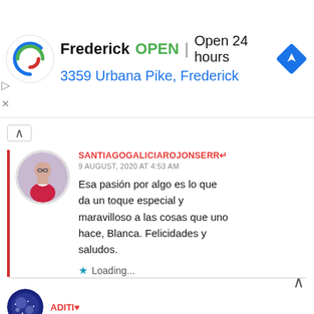[Figure (screenshot): Advertisement banner for a business named Frederick showing OPEN status, Open 24 hours, address 3359 Urbana Pike, Frederick, with a spiral logo and navigation icon]
SANTIAGOGALICIAROJONSERR
9 AUGUST, 2020 AT 4:53 AM
Esa pasión por algo es lo que da un toque especial y maravilloso a las cosas que uno hace, Blanca. Felicidades y saludos.
★ Loading...
[Figure (photo): Avatar of ADITI♥ user at bottom of page]